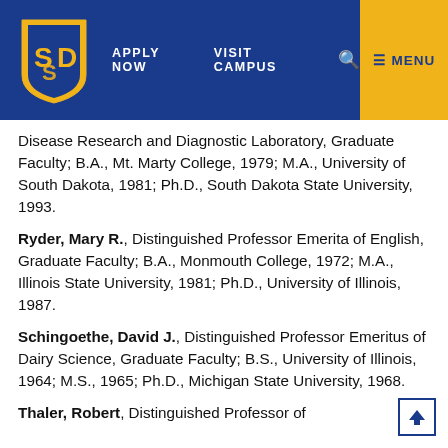[Figure (logo): South Dakota State University logo in blue and gold]
APPLY NOW   VISIT CAMPUS   🔍   ≡ MENU
Disease Research and Diagnostic Laboratory, Graduate Faculty; B.A., Mt. Marty College, 1979; M.A., University of South Dakota, 1981; Ph.D., South Dakota State University, 1993.
Ryder, Mary R., Distinguished Professor Emerita of English, Graduate Faculty; B.A., Monmouth College, 1972; M.A., Illinois State University, 1981; Ph.D., University of Illinois, 1987.
Schingoethe, David J., Distinguished Professor Emeritus of Dairy Science, Graduate Faculty; B.S., University of Illinois, 1964; M.S., 1965; Ph.D., Michigan State University, 1968.
Thaler, Robert, Distinguished Professor of